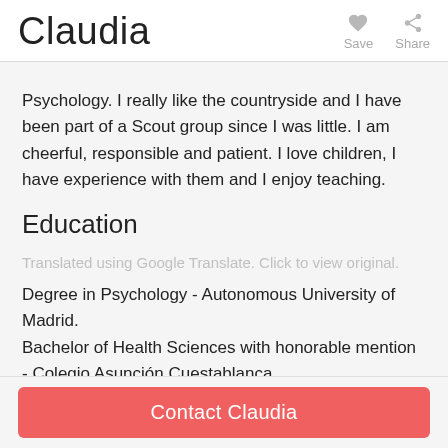Claudia
Psychology. I really like the countryside and I have been part of a Scout group since I was little. I am cheerful, responsible and patient. I love children, I have experience with them and I enjoy teaching.
Education
Translated using Google Translate. Click to view original.
Degree in Psychology - Autonomous University of Madrid.
Bachelor of Health Sciences with honorable mention - Colegio Asunción Cuestablanca
Pedagogical training focused on children between 8 and 14 years old - Association of Scouts of Europe
Contact Claudia